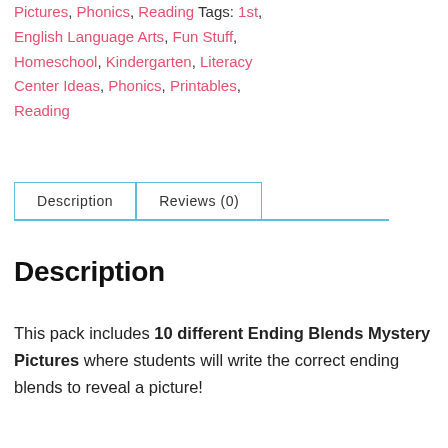Pictures, Phonics, Reading Tags: 1st, English Language Arts, Fun Stuff, Homeschool, Kindergarten, Literacy Center Ideas, Phonics, Printables, Reading
[Figure (other): Tab navigation with Description (active) and Reviews (0) tabs]
Description
This pack includes 10 different Ending Blends Mystery Pictures where students will write the correct ending blends to reveal a picture!